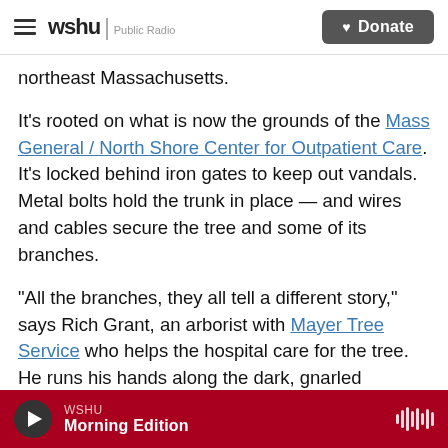wshu | Public Radio  Donate
northeast Massachusetts.
It’s rooted on what is now the grounds of the Mass General / North Shore Center for Outpatient Care. It’s locked behind iron gates to keep out vandals. Metal bolts hold the trunk in place — and wires and cables secure the tree and some of its branches.
“All the branches, they all tell a different story,” says Rich Grant, an arborist with Mayer Tree Service who helps the hospital care for the tree. He runs his hands along the dark, gnarled branches, rotted in places.
WSHU Morning Edition